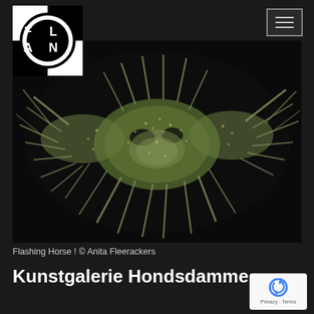[Figure (logo): FLAN logo: black and white checkered square with a circle containing letters F, L, A, N arranged in quadrants]
[Figure (other): Hamburger/menu icon button: three horizontal lines inside a bordered rectangle, positioned top right]
[Figure (photo): Dark background photo of a textured, spiny fish or sea creature (Flashing Horse) with green and white coloring against a black background, front-facing view showing fins spread wide]
Flashing Horse ! © Anita Fleerackers
Kunstgalerie Hondsdamme
[Figure (other): Google reCAPTCHA badge with blue arrow/recycling icon and 'Privacy · Terms' text below]